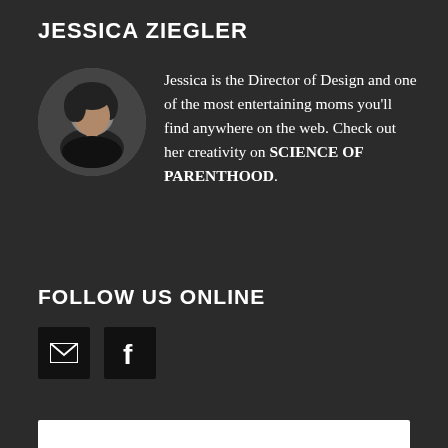JESSICA ZIEGLER
[Figure (photo): Circular portrait photo of Jessica Ziegler, a woman with dark hair against a light background]
Jessica is the Director of Design and one of the most entertaining moms you'll find anywhere on the web. Check out her creativity on SCIENCE OF PARENTHOOD.
FOLLOW US ONLINE
[Figure (illustration): Email icon (envelope) in a dark square button]
[Figure (illustration): Facebook icon (letter f) in a dark square button]